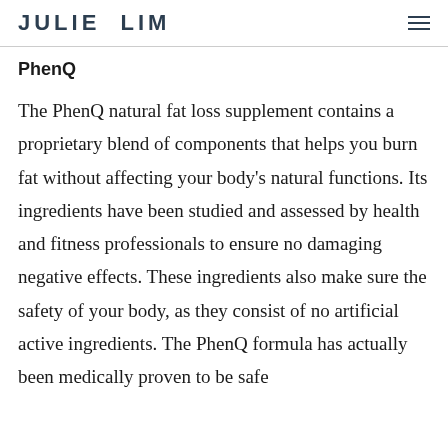JULIE LIM
PhenQ
The PhenQ natural fat loss supplement contains a proprietary blend of components that helps you burn fat without affecting your body's natural functions. Its ingredients have been studied and assessed by health and fitness professionals to ensure no damaging negative effects. These ingredients also make sure the safety of your body, as they consist of no artificial active ingredients. The PhenQ formula has actually been medically proven to be safe